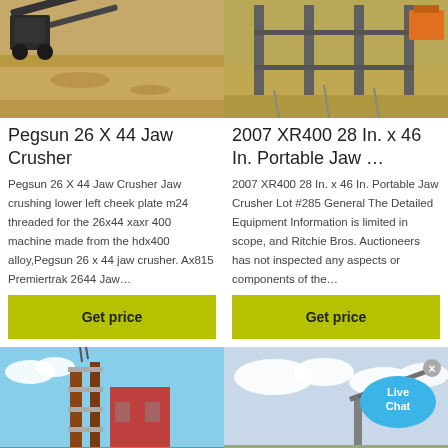[Figure (photo): Construction site with heavy equipment and conveyor belt, sandy ground]
[Figure (photo): Construction site with steel pillars/scaffolding, orange excavator visible]
Pegsun 26 X 44 Jaw Crusher
2007 XR400 28 In. x 46 In. Portable Jaw ...
Pegsun 26 X 44 Jaw Crusher Jaw crushing lower left cheek plate m24 threaded for the 26x44 xaxr 400 machine made from the hdx400 alloy,Pegsun 26 x 44 jaw crusher. Ax815 Premiertrak 2644 Jaw...
2007 XR400 28 In. x 46 In. Portable Jaw Crusher Lot #285 General The Detailed Equipment Information is limited in scope, and Ritchie Bros. Auctioneers has not inspected any aspects or components of the...
Get price
Get price
[Figure (photo): Industrial crusher or mill equipment with scaffolding against blue sky]
[Figure (photo): Heavy equipment or crane against cloudy sky]